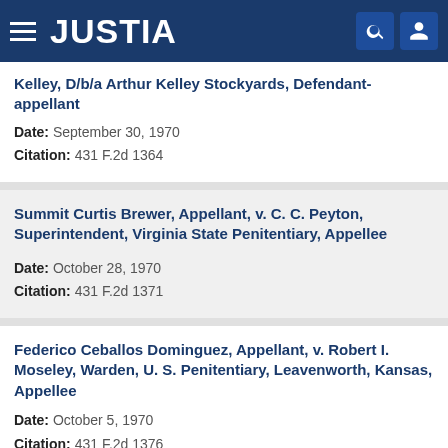JUSTIA
Kelley, D/b/a Arthur Kelley Stockyards, Defendant-appellant
Date: September 30, 1970
Citation: 431 F.2d 1364
Summit Curtis Brewer, Appellant, v. C. C. Peyton, Superintendent, Virginia State Penitentiary, Appellee
Date: October 28, 1970
Citation: 431 F.2d 1371
Federico Ceballos Dominguez, Appellant, v. Robert I. Moseley, Warden, U. S. Penitentiary, Leavenworth, Kansas, Appellee
Date: October 5, 1970
Citation: 431 F.2d 1376